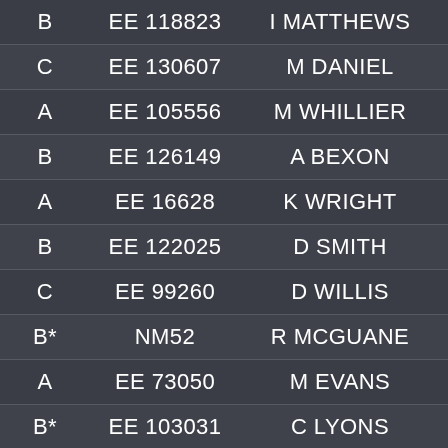| B | EE 118823 | I MATTHEWS | 89 |
| C | EE 130607 | M DANIEL | 89 |
| A | EE 105556 | M WHILLIER | 89 |
| B | EE 126149 | A BEXON | 89 |
| A | EE 16628 | K WRIGHT | 89 |
| B | EE 122025 | D SMITH | 89 |
| C | EE 99260 | D WILLIS | 89 |
| B* | NM52 | R MCGUANE | 89 |
| A | EE 73050 | M EVANS | 88 |
| B* | EE 103031 | C LYONS | 88 |